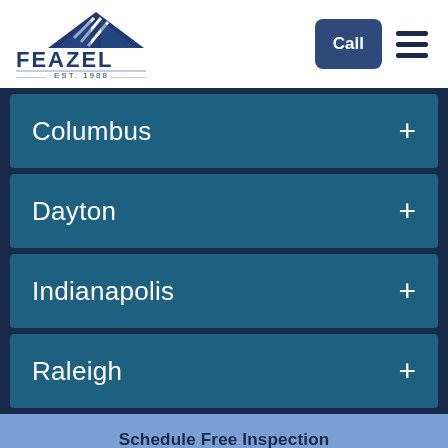[Figure (logo): Feazel roofing company logo with triangular roof icon and text 'FEAZEL EST. 1988']
Columbus +
Dayton +
Indianapolis +
Raleigh +
Schedule Free Inspection